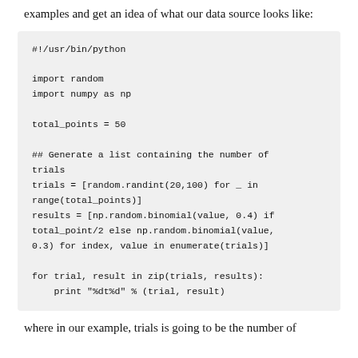examples and get an idea of what our data source looks like:
#!/usr/bin/python

import random
import numpy as np

total_points = 50

## Generate a list containing the number of trials
trials = [random.randint(20,100) for _ in range(total_points)]
results = [np.random.binomial(value, 0.4) if total_point/2 else np.random.binomial(value, 0.3) for index, value in enumerate(trials)]

for trial, result in zip(trials, results):
    print "%dt%d" % (trial, result)
where in our example, trials is going to be the number of